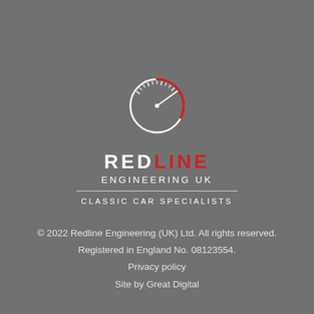[Figure (logo): Redline Engineering UK speedometer logo with white circle outline, tick marks, red needle sweep and white needle pointer]
REDLINE ENGINEERING UK
CLASSIC CAR SPECIALISTS
© 2022 Redline Engineering (UK) Ltd. All rights reserved.
Registered in England No. 08123554.
Privacy policy
Site by Great Digital